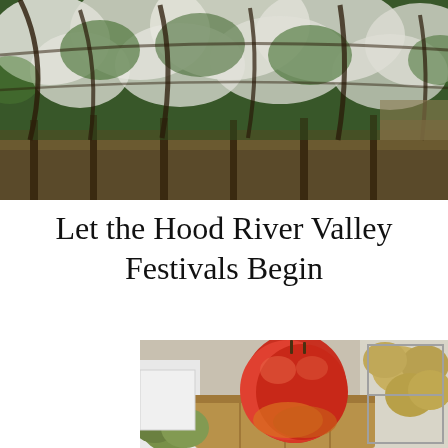[Figure (photo): Overhead view of blooming orchard trees with white blossoms, green foliage, and rows of trees extending into the distance.]
Let the Hood River Valley Festivals Begin
[Figure (photo): Close-up of large red and yellow pears in a wooden crate at a market stand, with green pears and boxes of fruit in the background.]